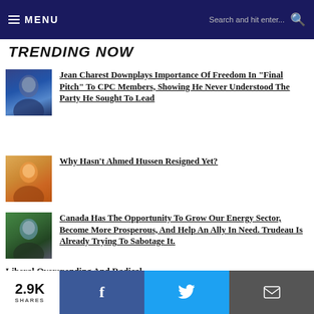MENU | Search and hit enter...
TRENDING NOW
Jean Charest Downplays Importance Of Freedom In "Final Pitch" To CPC Members, Showing He Never Understood The Party He Sought To Lead
Why Hasn't Ahmed Hussen Resigned Yet?
Canada Has The Opportunity To Grow Our Energy Sector, Become More Prosperous, And Help An Ally In Need. Trudeau Is Already Trying To Sabotage It.
Liberal Overspending And Radical...
2.9K SHARES